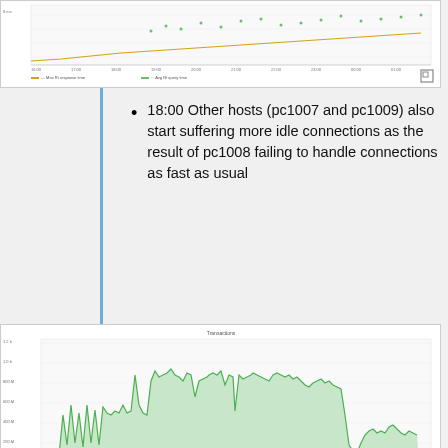[Figure (continuous-plot): Partial time-series line chart (cropped at top), showing response time metrics over time with yellow/green lines and a legend at the bottom.]
18:00 Other hosts (pc1007 and pc1009) also start suffering more idle connections as the result of pc1008 failing to handle connections as fast as usual
[Figure (continuous-plot): Time-series area/line chart titled 'Transactions' showing transaction counts over time from ~17:00 to 06:00, with a green filled area and legend entries for Idle, Supervising, Manning Foles, Balancing, up tot, up Servicing jobs, up Tray Tests, up Others.]
18:00 Average response time increases
[Figure (continuous-plot): Partial time-series line chart at bottom of page titled 'Average response time from here (ms)', partially visible.]